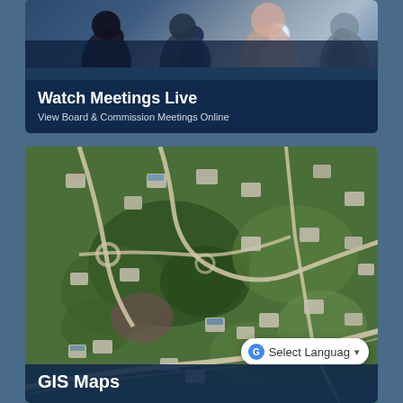[Figure (photo): Banner card with photo of people in a meeting/video call at top, dark navy overlay at bottom with text 'Watch Meetings Live' and subtitle 'View Board & Commission Meetings Online']
Watch Meetings Live
View Board & Commission Meetings Online
[Figure (map): Aerial/satellite map view of a residential neighborhood showing roads, houses, green spaces and trees from above]
Select Language
GIS Maps